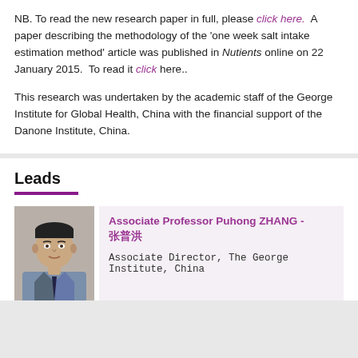NB. To read the new research paper in full, please click here. A paper describing the methodology of the 'one week salt intake estimation method' article was published in Nutients online on 22 January 2015. To read it click here..
This research was undertaken by the academic staff of the George Institute for Global Health, China with the financial support of the Danone Institute, China.
Leads
[Figure (photo): Headshot photo of Associate Professor Puhong ZHANG, an Asian male in a collared shirt and tie]
Associate Professor Puhong ZHANG - 张普洪
Associate Director, The George Institute, China